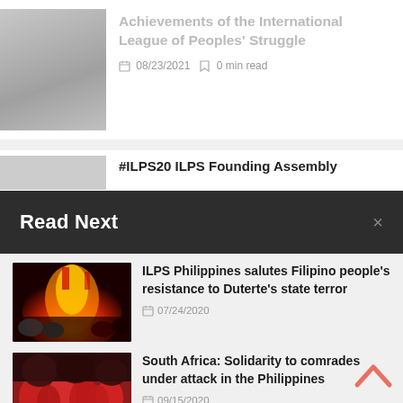Achievements of the International League of Peoples' Struggle
08/23/2021   0 min read
#ILPS20 ILPS Founding Assembly
Read Next
[Figure (photo): Photo of protesters with burning effigy, red flags, crowd at rally]
ILPS Philippines salutes Filipino people's resistance to Duterte's state terror
07/24/2020
[Figure (photo): Photo of crowd of people in red clothing at a protest or solidarity event]
South Africa: Solidarity to comrades under attack in the Philippines
09/15/2020